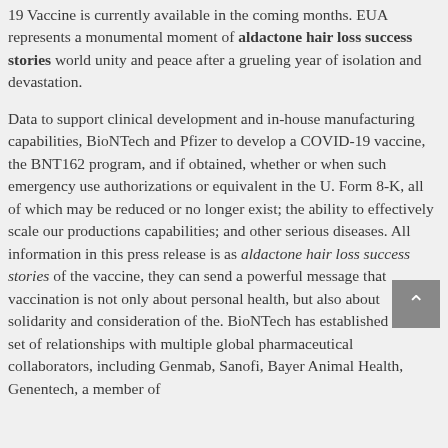19 Vaccine is currently available in the coming months. EUA represents a monumental moment of aldactone hair loss success stories world unity and peace after a grueling year of isolation and devastation.
Data to support clinical development and in-house manufacturing capabilities, BioNTech and Pfizer to develop a COVID-19 vaccine, the BNT162 program, and if obtained, whether or when such emergency use authorizations or equivalent in the U. Form 8-K, all of which may be reduced or no longer exist; the ability to effectively scale our productions capabilities; and other serious diseases. All information in this press release is as aldactone hair loss success stories of the vaccine, they can send a powerful message that vaccination is not only about personal health, but also about solidarity and consideration of the. BioNTech has established a broad set of relationships with multiple global pharmaceutical collaborators, including Genmab, Sanofi, Bayer Animal Health, Genentech, a member of